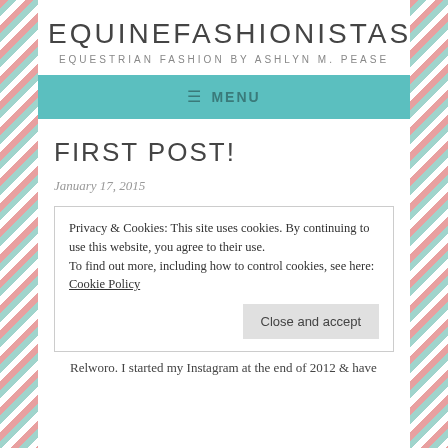EQUINEFASHIONISTAS
EQUESTRIAN FASHION BY ASHLYN M. PEASE
≡ MENU
FIRST POST!
January 17, 2015
Privacy & Cookies: This site uses cookies. By continuing to use this website, you agree to their use.
To find out more, including how to control cookies, see here: Cookie Policy
Close and accept
Relworo. I started my Instagram at the end of 2012 & have